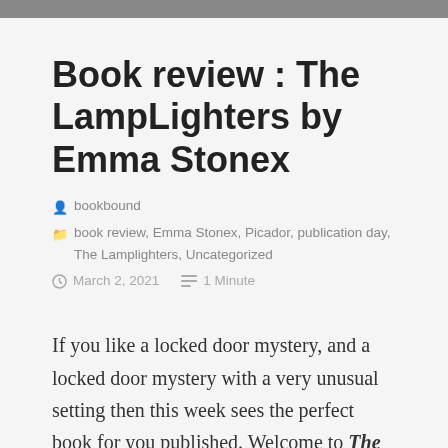Book review : The LampLighters by Emma Stonex
bookbound
book review, Emma Stonex, Picador, publication day, The Lamplighters, Uncategorized
March 2, 2021   1 Minute
If you like a locked door mystery, and a locked door mystery with a very unusual setting then this week sees the perfect book for you published. Welcome to The